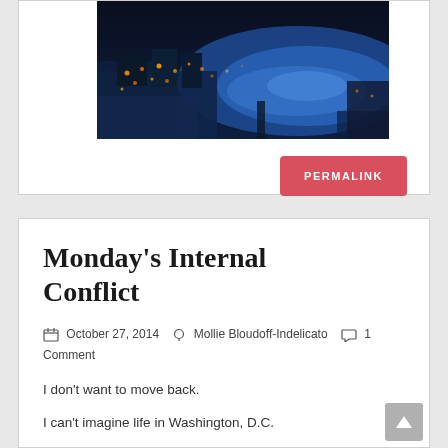[Figure (photo): Aerial night photograph of a snowy city/town near a body of water, with blue tones and scattered orange lights.]
PERMALINK
Monday's Internal Conflict
October 27, 2014  Mollie Bloudoff-Indelicato  1 Comment
I don't want to move back.

I can't imagine life in Washington, D.C.